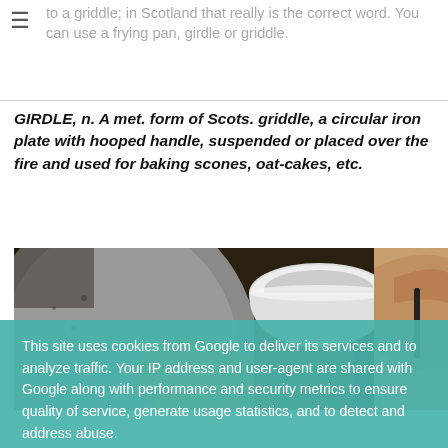to a griddle; in Scotland that really is the correct word. You can use a frying pan, girdle or griddle.
GIRDLE, n. A met. form of Scots. griddle, a circular iron plate with hooped handle, suspended or placed over the fire and used for baking scones, oat-cakes, etc.
[Figure (photo): Close-up photo of a cast iron griddle/girdle pan and a ceramic bowl being used in a kitchen setting]
This site uses cookies from Google to deliver its services and to analyze traffic. Your IP address and user-agent are shared with Google along with performance and security metrics to ensure quality of service, generate usage statistics, and to detect and address abuse.
LEARN MORE    OK